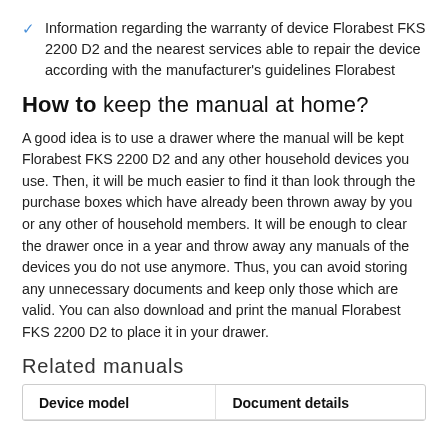Information regarding the warranty of device Florabest FKS 2200 D2 and the nearest services able to repair the device according with the manufacturer's guidelines Florabest
How to keep the manual at home?
A good idea is to use a drawer where the manual will be kept Florabest FKS 2200 D2 and any other household devices you use. Then, it will be much easier to find it than look through the purchase boxes which have already been thrown away by you or any other of household members. It will be enough to clear the drawer once in a year and throw away any manuals of the devices you do not use anymore. Thus, you can avoid storing any unnecessary documents and keep only those which are valid. You can also download and print the manual Florabest FKS 2200 D2 to place it in your drawer.
Related manuals
| Device model | Document details |
| --- | --- |